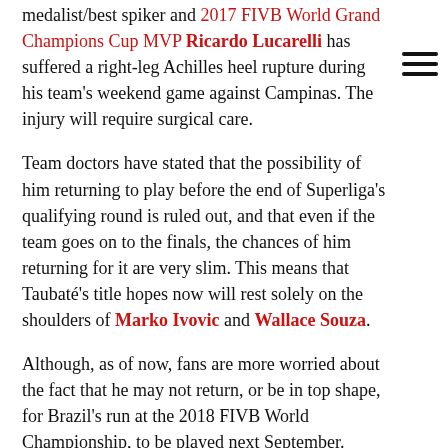medalist/best spiker and 2017 FIVB World Grand Champions Cup MVP Ricardo Lucarelli has suffered a right-leg Achilles heel rupture during his team's weekend game against Campinas. The injury will require surgical care.
Team doctors have stated that the possibility of him returning to play before the end of Superliga's qualifying round is ruled out, and that even if the team goes on to the finals, the chances of him returning for it are very slim. This means that Taubaté's title hopes now will rest solely on the shoulders of Marko Ivovic and Wallace Souza.
Although, as of now, fans are more worried about the fact that he may not return, or be in top shape, for Brazil's run at the 2018 FIVB World Championship, to be played next September. Brazil's hopse at a deep run in the tournament rests on Lucarelli's recovery, as he is one of the squad's most important players.
Social media flooded with support from his national team teammates. Here is what William Arjona had to say to him on